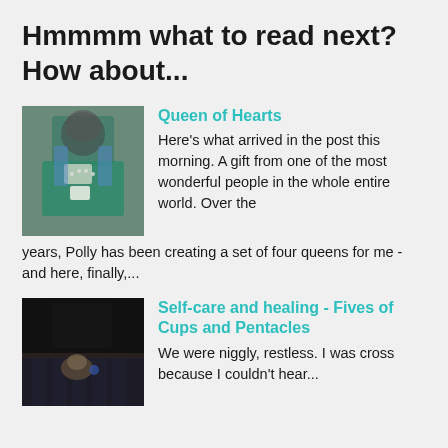Hmmmm what to read next? How about...
[Figure (photo): A fabric doll dressed in teal/green clothing with grey hair and a necklace, resembling a queen figure.]
Queen of Hearts
Here's what arrived in the post this morning. A gift from one of the most wonderful people in the whole entire world. Over the years, Polly has been creating a set of four queens for me - and here, finally,...
[Figure (photo): A dark image showing what appears to be a small object or figurine on a patterned surface.]
Self-care and healing - Fives of Cups and Pentacles
We were niggly, restless. I was cross because I couldn't hear...